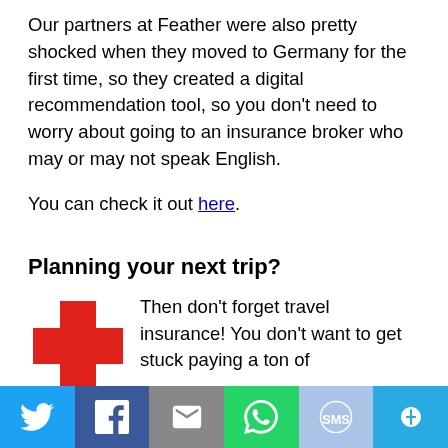Our partners at Feather were also pretty shocked when they moved to Germany for the first time, so they created a digital recommendation tool, so you don't need to worry about going to an insurance broker who may or may not speak English.
You can check it out here.
Planning your next trip?
Then don't forget travel insurance! You don't want to get stuck paying a ton of money and ruining your trip if you get sick or have
[Figure (illustration): Red cross / plus sign icon]